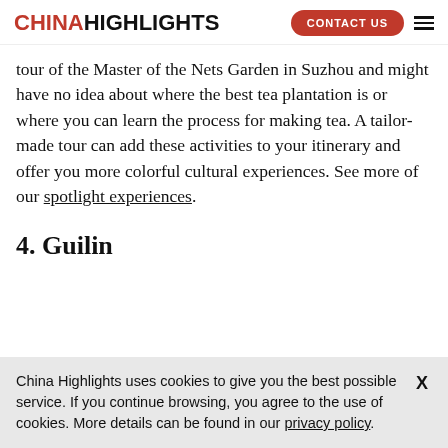CHINAHIGHLIGHTS  CONTACT US
tour of the Master of the Nets Garden in Suzhou and might have no idea about where the best tea plantation is or where you can learn the process for making tea. A tailor-made tour can add these activities to your itinerary and offer you more colorful cultural experiences. See more of our spotlight experiences.
4. Guilin
China Highlights uses cookies to give you the best possible service. If you continue browsing, you agree to the use of cookies. More details can be found in our privacy policy.